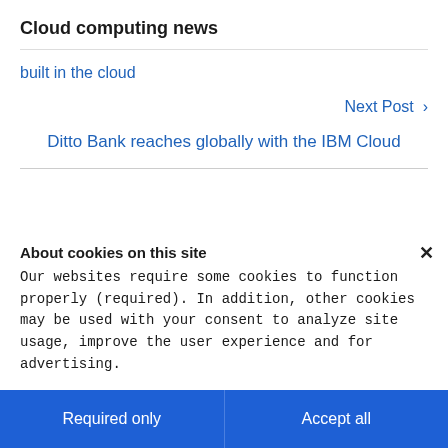Cloud computing news
built in the cloud
Next Post >
Ditto Bank reaches globally with the IBM Cloud
About cookies on this site
Our websites require some cookies to function properly (required). In addition, other cookies may be used with your consent to analyze site usage, improve the user experience and for advertising.
For more information, please review your Cookie preferences options and IBM's privacy statement.
Required only
Accept all